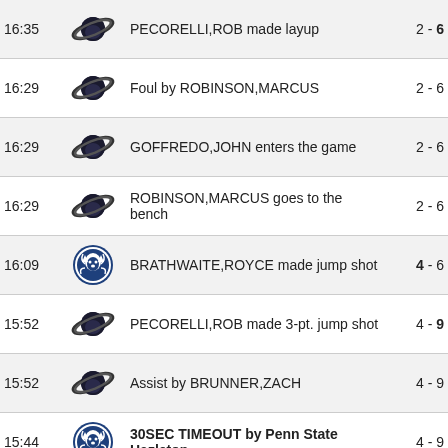| Time | Team | Description | Score |
| --- | --- | --- | --- |
| 16:35 | away | PECORELLI,ROB made layup | 2 - 6 |
| 16:29 | away | Foul by ROBINSON,MARCUS | 2 - 6 |
| 16:29 | away | GOFFREDO,JOHN enters the game | 2 - 6 |
| 16:29 | away | ROBINSON,MARCUS goes to the bench | 2 - 6 |
| 16:09 | home | BRATHWAITE,ROYCE made jump shot | 4 - 6 |
| 15:52 | away | PECORELLI,ROB made 3-pt. jump shot | 4 - 9 |
| 15:52 | away | Assist by BRUNNER,ZACH | 4 - 9 |
| 15:44 | home | 30SEC TIMEOUT by Penn State Hazleton | 4 - 9 |
| 15:44 | home | ADAMES,CHRISTOPHER enters the game | 4 - 9 |